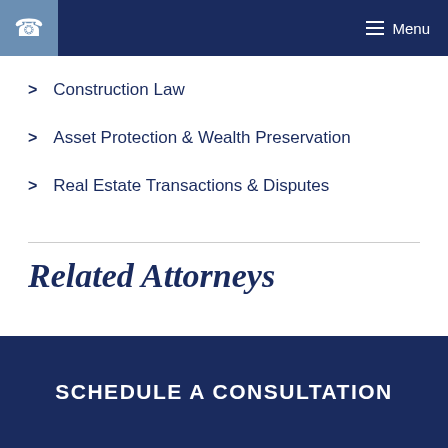Menu
Construction Law
Asset Protection & Wealth Preservation
Real Estate Transactions & Disputes
Related Attorneys
Select an Attorney
SCHEDULE A CONSULTATION